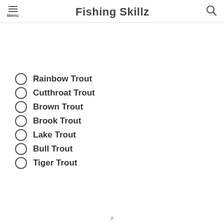Fishing Skillz
Rainbow Trout
Cutthroat Trout
Brown Trout
Brook Trout
Lake Trout
Bull Trout
Tiger Trout